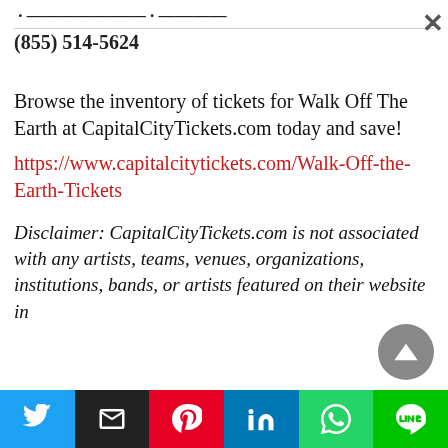...(truncated top text)...
(855) 514-5624
Browse the inventory of tickets for Walk Off The Earth at CapitalCityTickets.com today and save!
https://www.capitalcitytickets.com/Walk-Off-the-Earth-Tickets
Disclaimer: CapitalCityTickets.com is not associated with any artists, teams, venues, organizations, institutions, bands, or artists featured on their website in
[Figure (other): Social share bar with Twitter, Email, Pinterest, LinkedIn, WhatsApp, and LINE buttons]